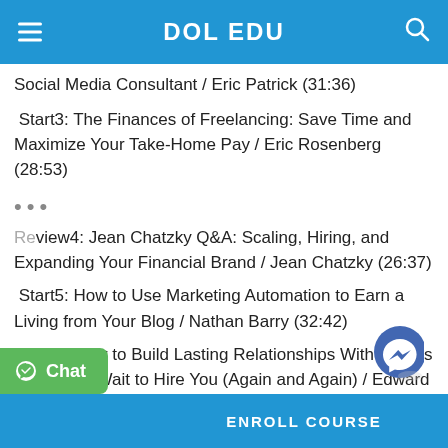DOL EDU
Social Media Consultant / Eric Patrick (31:36)
Start3: The Finances of Freelancing: Save Time and Maximize Your Take-Home Pay / Eric Rosenberg (28:53)
Review4: Jean Chatzky Q&A: Scaling, Hiring, and Expanding Your Financial Brand / Jean Chatzky (26:37)
Start5: How to Use Marketing Automation to Earn a Living from Your Blog / Nathan Barry (32:42)
Start6: How to Build Lasting Relationships With Brands That Can't Wait to Hire You (Again and Again) / Edward Shepard (27:59)
...ssons Learned From Growing a Blog into a
ENROLL COURSE